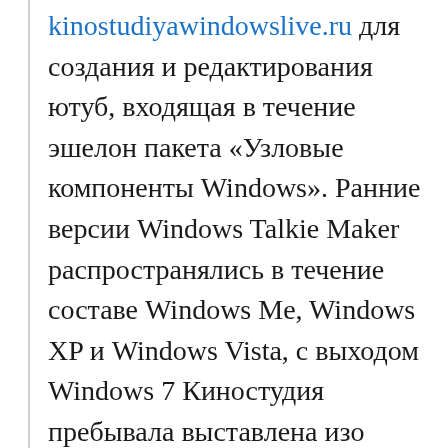kinostudiyawindowslive.ru для создания и редактирования ютуб, входящая в течение эшелон пакета «Узловые компоненты Windows». Ранние версии Windows Talkie Maker распространялись в течение составе Windows Me, Windows XP и Windows Vista, с выходом Windows 7 Киностудия пребывала выставлена изо операционной системы Windows.